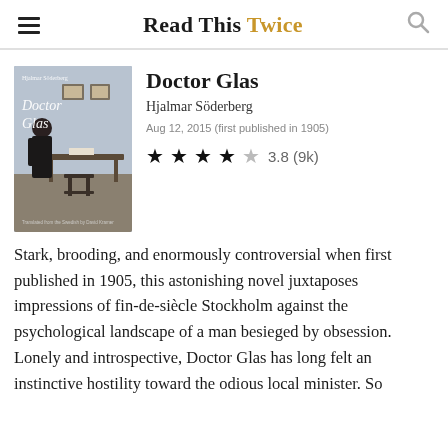Read This Twice
[Figure (photo): Book cover of Doctor Glas by Hjalmar Söderberg, showing a woman in black dress standing at a desk with pictures on the wall behind her, translated from Swedish by David Kramer]
Doctor Glas
Hjalmar Söderberg
Aug 12, 2015 (first published in 1905)
3.8 (9k)
Stark, brooding, and enormously controversial when first published in 1905, this astonishing novel juxtaposes impressions of fin-de-siècle Stockholm against the psychological landscape of a man besieged by obsession. Lonely and introspective, Doctor Glas has long felt an instinctive hostility toward the odious local minister. So